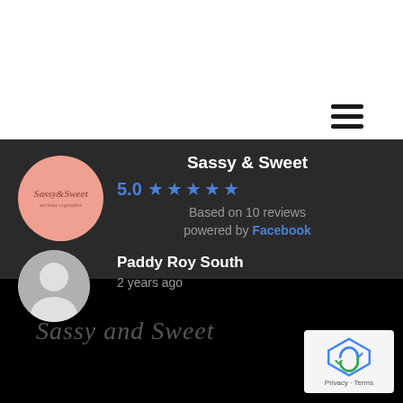[Figure (logo): Hamburger menu icon (three horizontal lines) in top-right corner of white header bar]
[Figure (logo): Sassy & Sweet brand logo - pink circular badge with cursive text]
Sassy & Sweet
5.0 ★★★★★
Based on 10 reviews
powered by Facebook
[Figure (photo): Grey default user avatar silhouette icon for reviewer Paddy Roy South]
Paddy Roy South
2 years ago
Sassy and Sweet
[Figure (logo): Google reCAPTCHA badge with Privacy and Terms links]